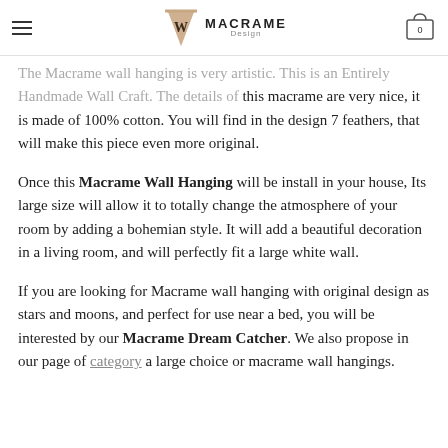MACRAME Design — navigation header with logo and cart
The Macrame wall hanging is very artistic. This is an Entirely Handmade Wall Craft. The details of this macrame are very nice, it is made of 100% cotton. You will find in the design 7 feathers, that will make this piece even more original.
Once this Macrame Wall Hanging will be install in your house, Its large size will allow it to totally change the atmosphere of your room by adding a bohemian style. It will add a beautiful decoration in a living room, and will perfectly fit a large white wall.
If you are looking for Macrame wall hanging with original design as stars and moons, and perfect for use near a bed, you will be interested by our Macrame Dream Catcher. We also propose in our page of category a large choice or macrame wall hangings.